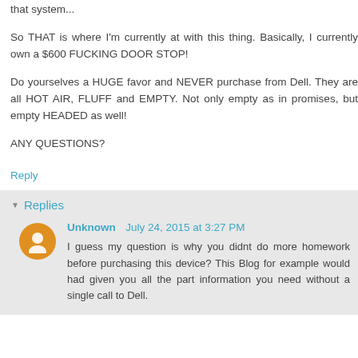that system...
So THAT is where I'm currently at with this thing. Basically, I currently own a $600 FUCKING DOOR STOP!
Do yourselves a HUGE favor and NEVER purchase from Dell. They are all HOT AIR, FLUFF and EMPTY. Not only empty as in promises, but empty HEADED as well!
ANY QUESTIONS?
Reply
Replies
Unknown  July 24, 2015 at 3:27 PM
I guess my question is why you didnt do more homework before purchasing this device? This Blog for example would had given you all the part information you need without a single call to Dell.